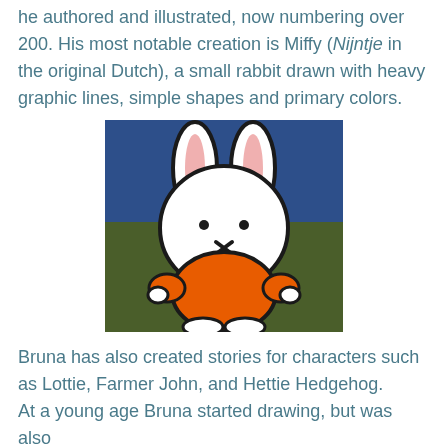he authored and illustrated, now numbering over 200. His most notable creation is Miffy (Nijntje in the original Dutch), a small rabbit drawn with heavy graphic lines, simple shapes and primary colors.
[Figure (illustration): Miffy (Nijntje) illustration: a simple white rabbit with black outline wearing an orange shirt, standing against a blue upper background and dark green lower background.]
Bruna has also created stories for characters such as Lottie, Farmer John, and Hettie Hedgehog. At a young age Bruna started drawing, but was also